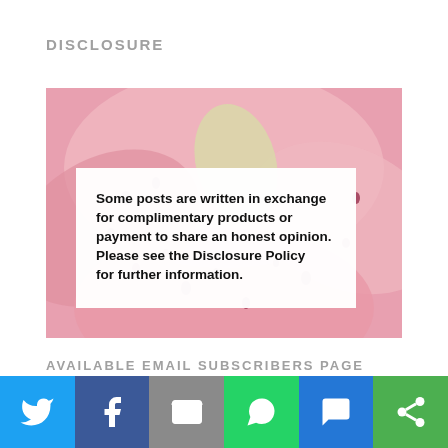DISCLOSURE
[Figure (illustration): Pink lily flower close-up background with a white overlay box containing bold text: 'Some posts are written in exchange for complimentary products or payment to share an honest opinion. Please see the Disclosure Policy for further information.']
AVAILABLE EMAIL SUBSCRIBERS PAGE
[Figure (infographic): Social sharing bar with six buttons: Twitter (light blue), Facebook (dark blue), Email (gray), WhatsApp (green), SMS (blue), and More/share (dark green), each with a white icon.]